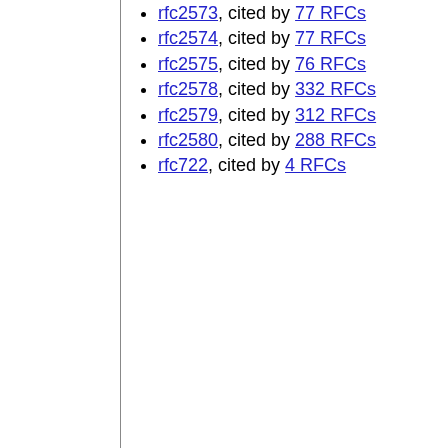rfc2573, cited by 77 RFCs
rfc2574, cited by 77 RFCs
rfc2575, cited by 76 RFCs
rfc2578, cited by 332 RFCs
rfc2579, cited by 312 RFCs
rfc2580, cited by 288 RFCs
rfc722, cited by 4 RFCs